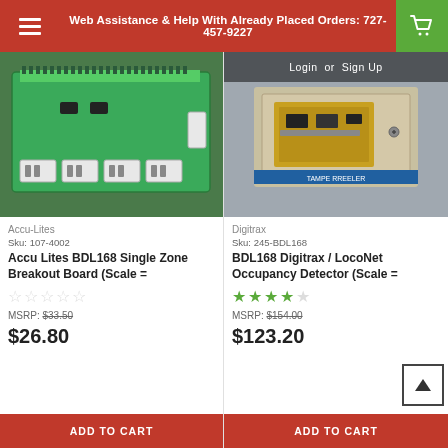Web Assistance & Help With Already Placed Orders: 727-457-9227
[Figure (photo): Green PCB circuit board - Accu Lites BDL168 Single Zone Breakout Board]
Accu-Lites
Sku: 107-4002
Accu Lites BDL168 Single Zone Breakout Board (Scale =
☆☆☆☆☆
MSRP: $33.50
$26.80
ADD TO CART
[Figure (photo): BDL168 Digitrax / LocoNet Occupancy Detector circuit board in packaging - with Login or Sign Up overlay]
Digitrax
Sku: 245-BDL168
BDL168 Digitrax / LocoNet Occupancy Detector (Scale =
★★★★★
MSRP: $154.00
$123.20
ADD TO CART